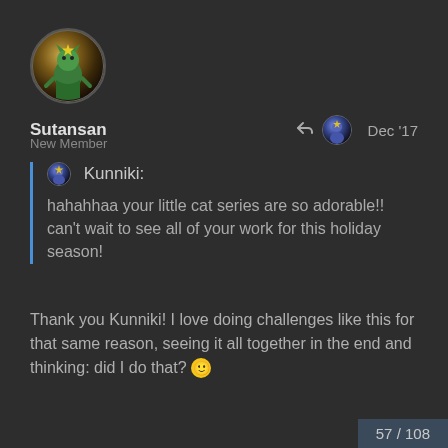[Figure (photo): Circular avatar of user Sutansan showing a stylized cat/character in a green outfit with holiday theme]
Sutansan
New Member
Dec '17
Kunniki:
hahahhaa your little cat series are so adorable!! can't wait to see all of your work for this holiday season!
Thank you Kunniki! I love doing challenges like this for that same reason, seeing it all together in the end and thinking: did I do that? 🙂
57 / 108